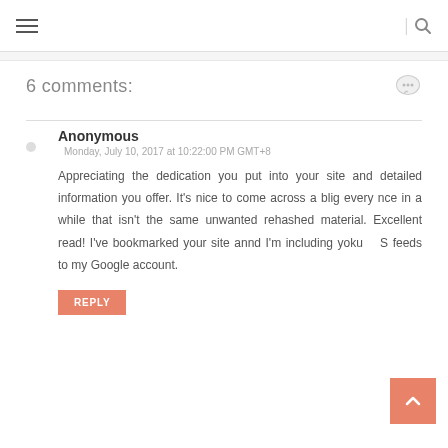≡  |  🔍
6 comments:
Anonymous
Monday, July 10, 2017 at 10:22:00 PM GMT+8
Appreciating the dedication you put into your site and detailed information you offer. It's nice to come across a blig every nce in a while that isn't the same unwanted rehashed material. Excellent read! I've bookmarked your site annd I'm including yoku RS feeds to my Google account.
REPLY